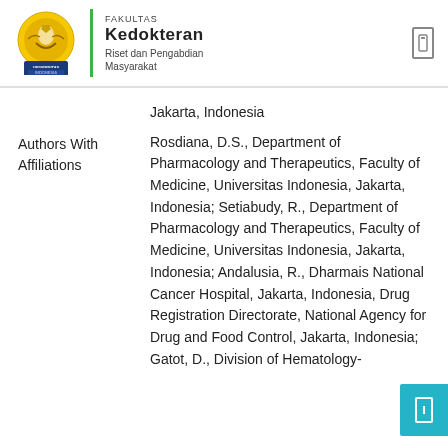[Figure (logo): Universitas Indonesia Fakultas Kedokteran logo with circular emblem, green vertical bar, and text reading FAKULTAS KEDOKTERAN, Riset dan Pengabdian Masyarakat]
Jakarta, Indonesia
Authors With Affiliations
Rosdiana, D.S., Department of Pharmacology and Therapeutics, Faculty of Medicine, Universitas Indonesia, Jakarta, Indonesia; Setiabudy, R., Department of Pharmacology and Therapeutics, Faculty of Medicine, Universitas Indonesia, Jakarta, Indonesia; Andalusia, R., Dharmais National Cancer Hospital, Jakarta, Indonesia, Drug Registration Directorate, National Agency for Drug and Food Control, Jakarta, Indonesia; Gatot, D., Division of Hematology-